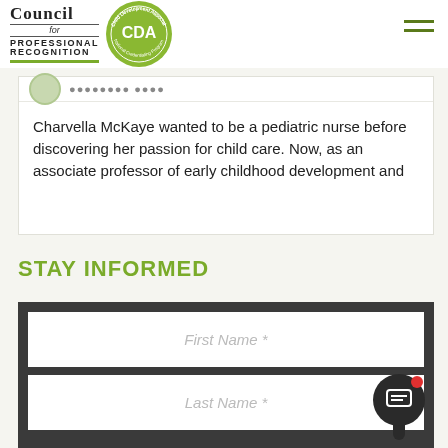[Figure (logo): Council for Professional Recognition CDA circular logo with navigation hamburger menu]
Charvella McKaye wanted to be a pediatric nurse before discovering her passion for child care. Now, as an associate professor of early childhood development and
STAY INFORMED
[Figure (screenshot): Form with First Name and Last Name input fields on dark background, with chat widget overlay]